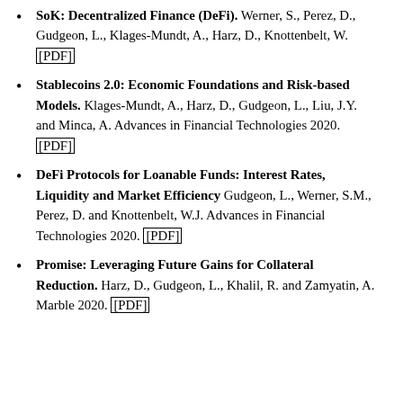SoK: Decentralized Finance (DeFi). Werner, S., Perez, D., Gudgeon, L., Klages-Mundt, A., Harz, D., Knottenbelt, W. [PDF]
Stablecoins 2.0: Economic Foundations and Risk-based Models. Klages-Mundt, A., Harz, D., Gudgeon, L., Liu, J.Y. and Minca, A. Advances in Financial Technologies 2020. [PDF]
DeFi Protocols for Loanable Funds: Interest Rates, Liquidity and Market Efficiency Gudgeon, L., Werner, S.M., Perez, D. and Knottenbelt, W.J. Advances in Financial Technologies 2020. [PDF]
Promise: Leveraging Future Gains for Collateral Reduction. Harz, D., Gudgeon, L., Khalil, R. and Zamyatin, A. Marble 2020. [PDF]